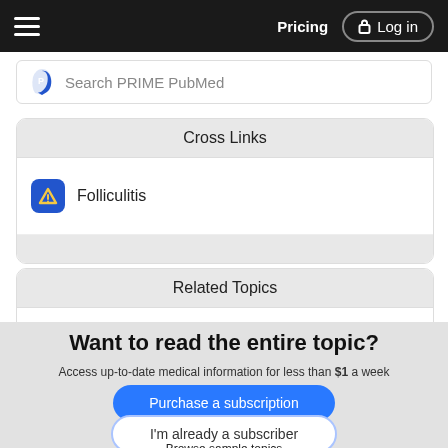Pricing  Log in
Search PRIME PubMed
Cross Links
Folliculitis
Related Topics
Mood Stabilizers
Want to read the entire topic?
Access up-to-date medical information for less than $1 a week
Purchase a subscription
I'm already a subscriber
Browse sample topics